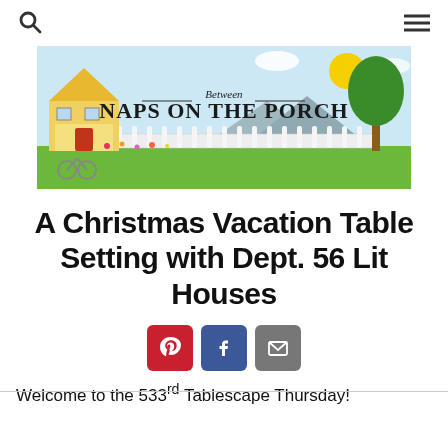🔍  ☰
[Figure (illustration): Between Naps on the Porch blog banner: illustrated yellow house with porch, white picket fence, garden flowers, bicycle, green tree, sun in blue sky with clouds, mountains in background. Text reads 'Between Naps on the Porch'.]
A Christmas Vacation Table Setting with Dept. 56 Lit Houses
[Figure (infographic): Three social sharing buttons: Pinterest (red, P icon), Facebook (blue, f icon), Email (gray, envelope icon)]
Welcome to the 533rd Tablescape Thursday!